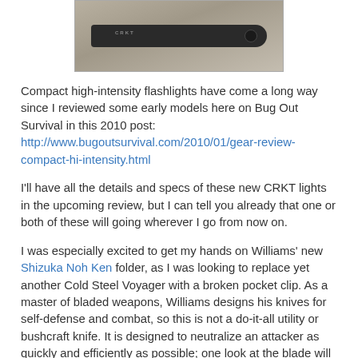[Figure (photo): A black folding knife (CRKT branded) photographed on a gray textured fabric background.]
Compact high-intensity flashlights have come a long way since I reviewed some early models here on Bug Out Survival in this 2010 post: http://www.bugoutsurvival.com/2010/01/gear-review-compact-hi-intensity.html
I'll have all the details and specs of these new CRKT lights in the upcoming review, but I can tell you already that one or both of these will going wherever I go from now on.
I was especially excited to get my hands on Williams' new Shizuka Noh Ken folder, as I was looking to replace yet another Cold Steel Voyager with a broken pocket clip. As a master of bladed weapons, Williams designs his knives for self-defense and combat, so this is not a do-it-all utility or bushcraft knife. It is designed to neutralize an attacker as quickly and efficiently as possible; one look at the blade will tell you that. Carry something else to open packages and